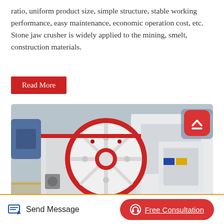ratio, uniform product size, simple structure, stable working performance, easy maintenance, economic operation cost, etc. Stone jaw crusher is widely applied to the mining, smelt, construction materials.
Read More
[Figure (photo): Close-up photo of a stone jaw crusher machine in a factory/workshop setting. The machine features a large red and white flywheel prominently in the foreground, with the crusher body and frame visible in the background. Industrial machinery and factory floor visible in background.]
Send Message
Free Consultation